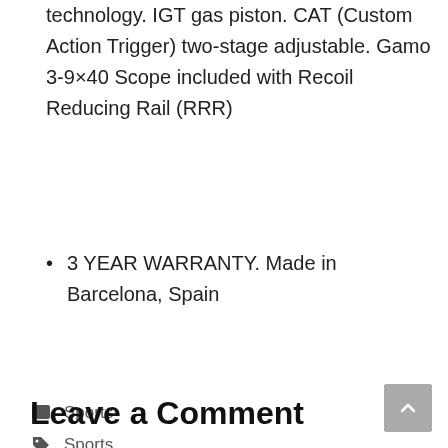technology. IGT gas piston. CAT (Custom Action Trigger) two-stage adjustable. Gamo 3-9×40 Scope included with Recoil Reducing Rail (RRR)
3 YEAR WARRANTY. Made in Barcelona, Spain
Sports
Sports
Leave a Comment